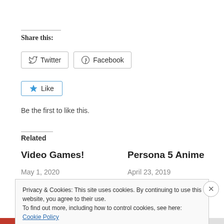Share this:
[Figure (other): Twitter and Facebook share buttons]
[Figure (other): Like button with star icon]
Be the first to like this.
Related
Video Games!
Persona 5 Anime
May 1, 2020
April 23, 2019
Privacy & Cookies: This site uses cookies. By continuing to use this website, you agree to their use.
To find out more, including how to control cookies, see here: Cookie Policy
Close and accept